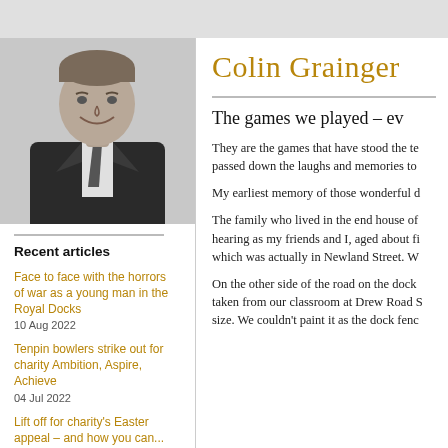[Figure (photo): Black and white portrait photo of Colin Grainger, a man in a suit and tie, smiling.]
Recent articles
Face to face with the horrors of war as a young man in the Royal Docks
10 Aug 2022
Tenpin bowlers strike out for charity Ambition, Aspire, Achieve
04 Jul 2022
Lift off for charity's Easter appeal – and how you can...
Colin Grainger
The games we played – ev
They are the games that have stood the te... passed down the laughs and memories to...
My earliest memory of those wonderful d...
The family who lived in the end house of... hearing as my friends and I, aged about fi... which was actually in Newland Street. W...
On the other side of the road on the dock... taken from our classroom at Drew Road S... size. We couldn't paint it as the dock fenc...